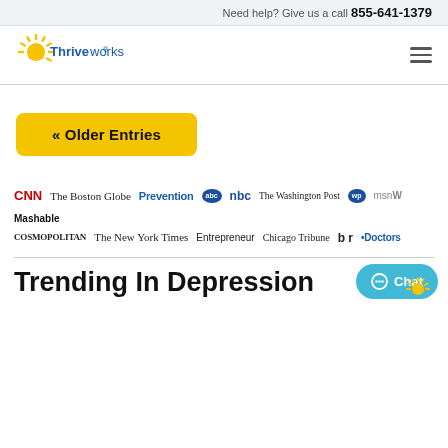Need help? Give us a call 855-641-1379
[Figure (logo): Thriveworks logo with sun/rays icon and text]
« Older Entries
[Figure (logo): Media logos row: CNN, The Boston Globe, Prevention, ABC, NBC, The Washington Post, MSN, Mashable, Cosmopolitan, The New York Times, Entrepreneur, Chicago Tribune, br, Doctors]
Trending In Depression